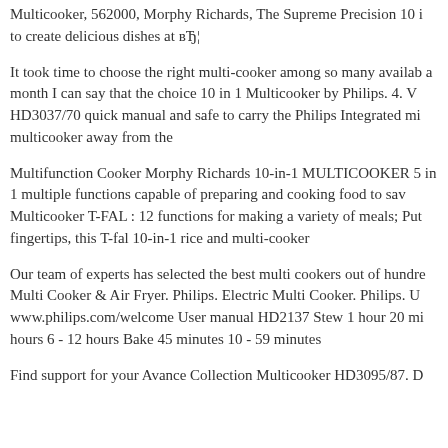Multicooker, 562000, Morphy Richards, The Supreme Precision 10 i to create delicious dishes at вЂ¦
It took time to choose the right multi-cooker among so many availab a month I can say that the choice 10 in 1 Multicooker by Philips. 4. V HD3037/70 quick manual and safe to carry the Philips Integrated mi multicooker away from the
Multifunction Cooker Morphy Richards 10-in-1 MULTICOOKER 5 in 1 multiple functions capable of preparing and cooking food to sav Multicooker T-FAL : 12 functions for making a variety of meals; Put fingertips, this T-fal 10-in-1 rice and multi-cooker
Our team of experts has selected the best multi cookers out of hundre Multi Cooker & Air Fryer. Philips. Electric Multi Cooker. Philips. U www.philips.com/welcome User manual HD2137 Stew 1 hour 20 mi hours 6 - 12 hours Bake 45 minutes 10 - 59 minutes
Find support for your Avance Collection Multicooker HD3095/87. D